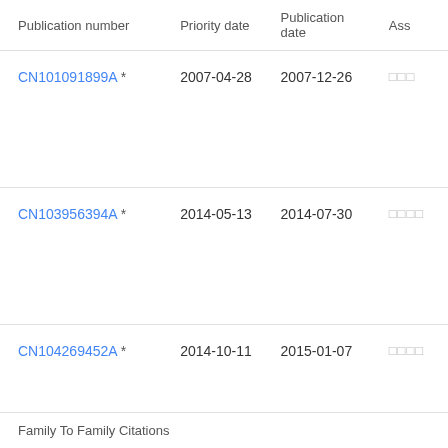| Publication number | Priority date | Publication date | Ass |
| --- | --- | --- | --- |
| CN101091899A * | 2007-04-28 | 2007-12-26 | □□□ |
| CN103956394A * | 2014-05-13 | 2014-07-30 | □□□□ |
| CN104269452A * | 2014-10-11 | 2015-01-07 | □□□□ |
Family To Family Citations